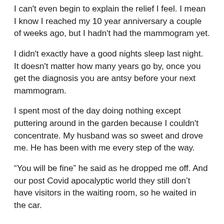I can't even begin to explain the relief I feel. I mean I know I reached my 10 year anniversary a couple of weeks ago, but I hadn't had the mammogram yet.
I didn't exactly have a good nights sleep last night. It doesn't matter how many years go by, once you get the diagnosis you are antsy before your next mammogram.
I spent most of the day doing nothing except puttering around in the garden because I couldn't concentrate. My husband was so sweet and drove me. He has been with me every step of the way.
“You will be fine” he said as he dropped me off. And our post Covid apocalyptic world they still don’t have visitors in the waiting room, so he waited in the car.